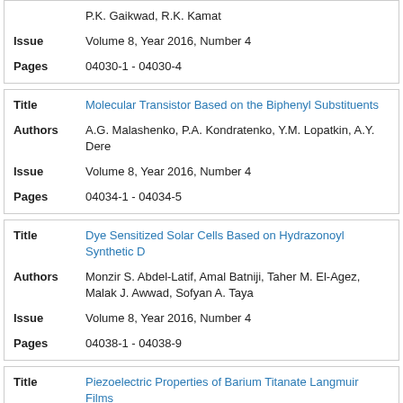| Field | Value |
| --- | --- |
| Authors (partial) | P.K. Gaikwad, R.K. Kamat |
| Issue | Volume 8, Year 2016, Number 4 |
| Pages | 04030-1 - 04030-4 |
| Field | Value |
| --- | --- |
| Title | Molecular Transistor Based on the Biphenyl Substituents |
| Authors | A.G. Malashenko, P.A. Kondratenko, Y.M. Lopatkin, A.Y. Dere... |
| Issue | Volume 8, Year 2016, Number 4 |
| Pages | 04034-1 - 04034-5 |
| Field | Value |
| --- | --- |
| Title | Dye Sensitized Solar Cells Based on Hydrazonoyl Synthetic D... |
| Authors | Monzir S. Abdel-Latif, Amal Batniji, Taher M. El-Agez, Malak J. Awwad, Sofyan A. Taya |
| Issue | Volume 8, Year 2016, Number 4 |
| Pages | 04038-1 - 04038-9 |
| Field | Value |
| --- | --- |
| Title | Piezoelectric Properties of Barium Titanate Langmuir Films |
| Authors | A.P. Kuzmenko, I.V. Chuhaeva, P.V. Abakumov, M.B. Dobrom... |
| Issue | Volume 8, Year 2016, Number 4 |